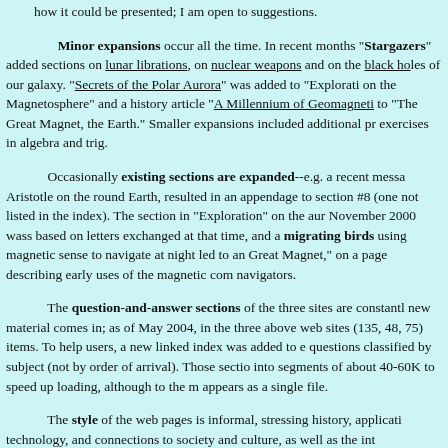how it could be presented; I am open to suggestions.
Minor expansions occur all the time. In recent months "Stargazers" added sections on lunar librations, on nuclear weapons and on the black holes of our galaxy. "Secrets of the Polar Aurora" was added to "Exploration of the Magnetosphere" and a history article "A Millennium of Geomagnetism" to "The Great Magnet, the Earth." Smaller expansions included additional problems and exercises in algebra and trig.
Occasionally existing sections are expanded--e.g. a recent message about Aristotle on the round Earth, resulted in an appendage to section #8 of "Stargazers" (one not listed in the index). The section in "Exploration" on the aurora of November 2000 wass based on letters exchanged at that time, and a note about migrating birds using magnetic sense to navigate at night led to an addition to "The Great Magnet," on a page describing early uses of the magnetic compass by navigators.
The question-and-answer sections of the three sites are constantly updated as new material comes in; as of May 2004, in the three above web sites they contained (135, 48, 75) items. To help users, a new linked index was added to each, listing questions classified by subject (not by order of arrival). Those sections were split into segments of about 40-60K to speed up loading, although to the reader each appears as a single file.
The style of the web pages is informal, stressing history, applications, technology, and connections to society and culture, as well as the int